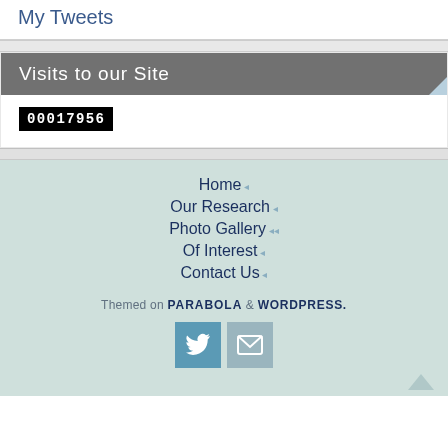My Tweets
Visits to our Site
00017956
Home
Our Research
Photo Gallery
Of Interest
Contact Us
PARABOLA  WORDPRESS.
[Figure (other): Twitter bird icon button and email/envelope icon button]